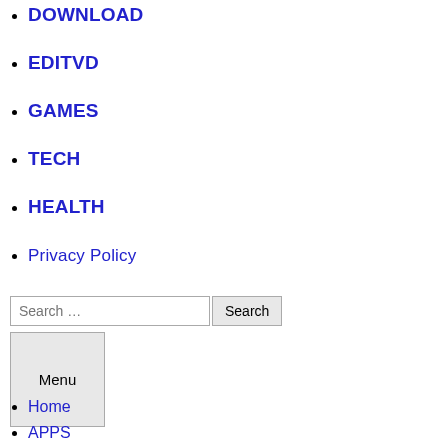DOWNLOAD
EDITVD
GAMES
TECH
HEALTH
Privacy Policy
Search ... [search input] Search [button] Menu [button]
Home
APPS